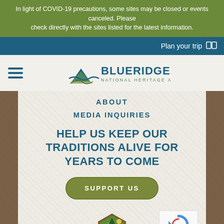In light of COVID-19 precautions, some sites may be closed or events canceled. Please check directly with the sites listed for the latest information.
Plan your trip
[Figure (logo): Blue Ridge National Heritage Area logo with mountain/wave graphic and text]
ABOUT
MEDIA INQUIRIES
HELP US KEEP OUR TRADITIONS ALIVE FOR YEARS TO COME
SUPPORT US
[Figure (logo): National Park Service arrowhead logo at bottom]
[Figure (other): reCAPTCHA widget]
f  (Twitter bird)  (envelope)  p  +